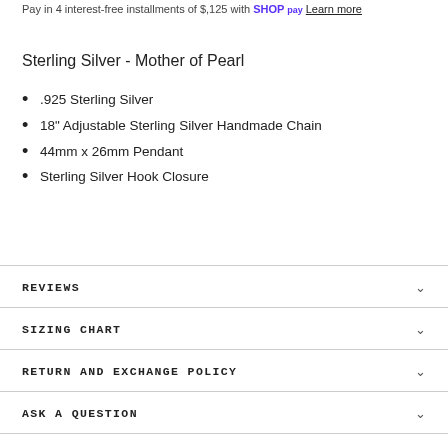Pay in 4 interest-free installments of $,125 with Shop Pay Learn more
Sterling Silver - Mother of Pearl
.925 Sterling Silver
18" Adjustable Sterling Silver Handmade Chain
44mm x 26mm Pendant
Sterling Silver Hook Closure
REVIEWS
SIZING CHART
RETURN AND EXCHANGE POLICY
ASK A QUESTION